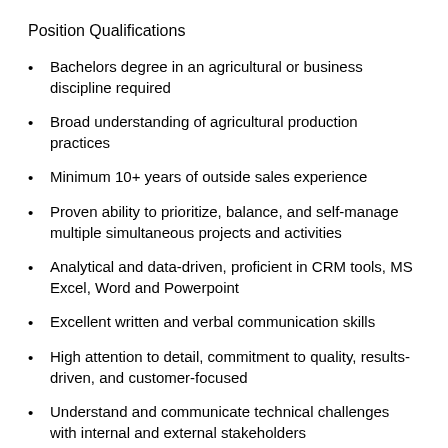Position Qualifications
Bachelors degree in an agricultural or business discipline required
Broad understanding of agricultural production practices
Minimum 10+ years of outside sales experience
Proven ability to prioritize, balance, and self-manage multiple simultaneous projects and activities
Analytical and data-driven, proficient in CRM tools, MS Excel, Word and Powerpoint
Excellent written and verbal communication skills
High attention to detail, commitment to quality, results-driven, and customer-focused
Understand and communicate technical challenges with internal and external stakeholders